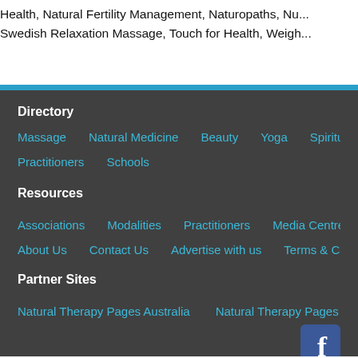Health, Natural Fertility Management, Naturopaths, Nu... Swedish Relaxation Massage, Touch for Health, Weigh...
Directory
Massage   Natural Medicine   Beauty   Yoga   Spiritual   Exercise &...
Practitioners   Schools
Resources
Associations   Modalities   Practitioners   Media Centre   Glossary
About Us   Contact Us   Advertise with us   Terms & Conditions   Priv...
Partner Sites
Natural Therapy Pages Australia   Natural Therapy Pages UK   Natural...
[Figure (logo): Facebook icon - white 'f' on dark blue square with rounded corners]
For Business Owners